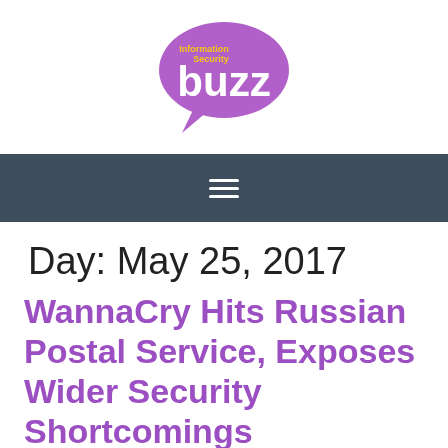[Figure (logo): Information Security Buzz logo — purple speech bubble with 'buzz' in white and 'Information Security' in yellow text above]
[Figure (other): Dark grey navigation bar with white hamburger menu icon (three horizontal lines)]
Day: May 25, 2017
WannaCry Hits Russian Postal Service, Exposes Wider Security Shortcomings
[Figure (photo): Photo of a cluttered postal sorting area with packages and boxes, partially visible at the bottom of the page]